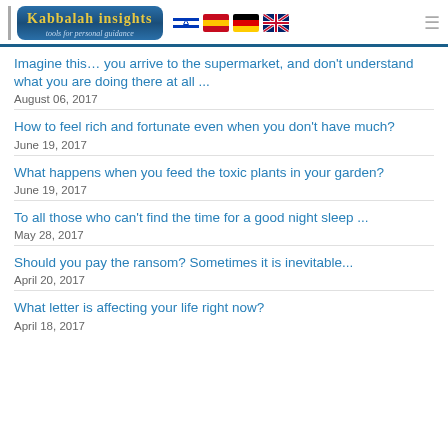Kabbalah Insights — tools for personal guidance
Imagine this… you arrive to the supermarket, and don't understand what you are doing there at all ...
August 06, 2017
How to feel rich and fortunate even when you don't have much?
June 19, 2017
What happens when you feed the toxic plants in your garden?
June 19, 2017
To all those who can't find the time for a good night sleep ...
May 28, 2017
Should you pay the ransom? Sometimes it is inevitable...
April 20, 2017
What letter is affecting your life right now?
April 18, 2017